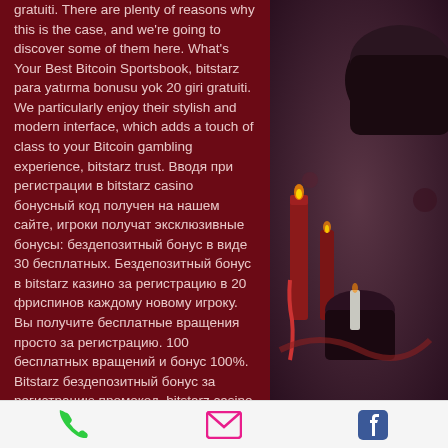gratuiti. There are plenty of reasons why this is the case, and we're going to discover some of them here. What's Your Best Bitcoin Sportsbook, bitstarz para yatırma bonusu yok 20 giri gratuiti. We particularly enjoy their stylish and modern interface, which adds a touch of class to your Bitcoin gambling experience, bitstarz trust. Вводя при регистрации в bitstarz casino бонусный код получен на нашем сайте, игроки получат эксклюзивные бонусы: бездепозитный бонус в виде 30 бесплатных. Бездепозитный бонус в bitstarz казино за регистрацию в 20 фриспинов каждому новому игроку. Вы получите бесплатные вращения просто за регистрацию. 100 бесплатных вращений и бонус 100%. Bitstarz бездепозитный бонус за регистрацию промокод, bitstarz casino 20
[Figure (photo): Decorative photo of candles, potions, and mystical objects in dark red/purple tones]
Phone | Email | Facebook